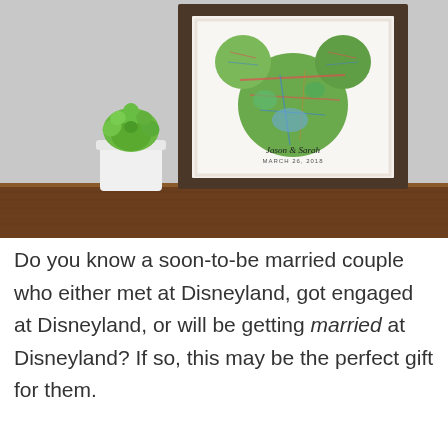[Figure (photo): A framed print featuring a Mickey Mouse silhouette shape filled with a colorful map, personalized with the names 'Jason & Sarah' and date 'MARCH 26, 2018'. The frame is rustic dark wood, sitting on a wooden shelf beside a small white pot with a green succulent. Background is light gray.]
Do you know a soon-to-be married couple who either met at Disneyland, got engaged at Disneyland, or will be getting married at Disneyland? If so, this may be the perfect gift for them.